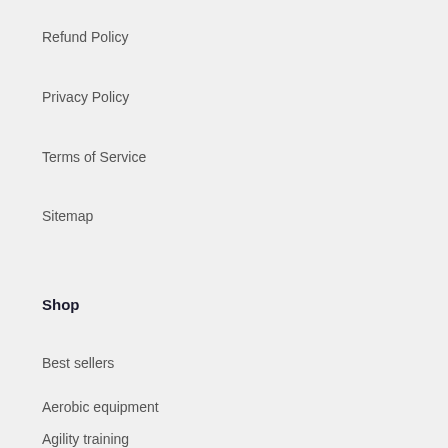Refund Policy
Privacy Policy
Terms of Service
Sitemap
Shop
Best sellers
Aerobic equipment
Agility training